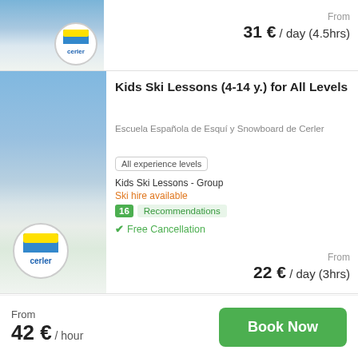[Figure (photo): Top card showing ski resort photo with Cerler logo/badge and price]
From
31 € / day (4.5hrs)
[Figure (photo): Kids skiing on a snowy slope with Cerler school logo overlay]
Kids Ski Lessons (4-14 y.) for All Levels
Escuela Española de Esquí y Snowboard de Cerler
All experience levels
Kids Ski Lessons - Group
Ski hire available
16 Recommendations
✔ Free Cancellation
From
22 € / day (3hrs)
From
42 € / hour
Book Now